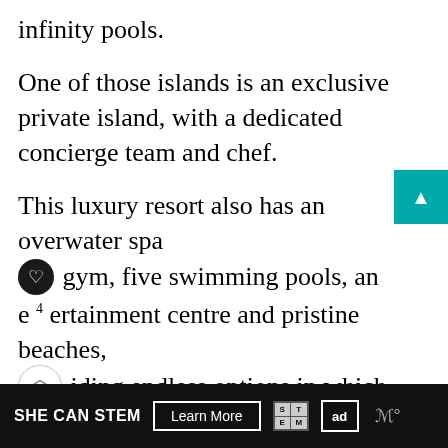infinity pools.
One of those islands is an exclusive private island, with a dedicated concierge team and chef.
This luxury resort also has an overwater spa a gym, five swimming pools, an e4 ertainment centre and pristine beaches, iding endless options in which guests can
WHAT'S NEXT → 11 Luxury Escapes In...
Ithaafushi Private Island is accessible by yacht ar
[Figure (infographic): Advertisement banner: SHE CAN STEM with Learn More button, STEM and ad council logos]